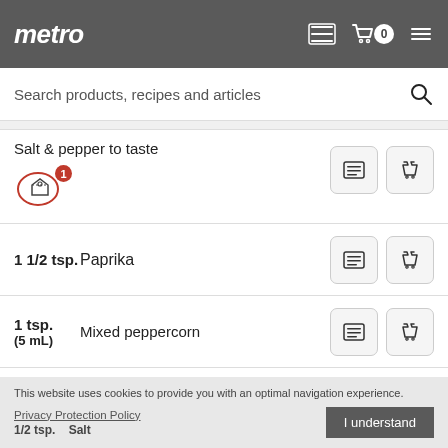metro
Search products, recipes and articles
Salt & pepper to taste
1 1/2 tsp. Paprika
1 tsp. (5 mL) Mixed peppercorn
This website uses cookies to provide you with an optimal navigation experience.
Privacy Protection Policy
I understand
1/2 tsp. Salt